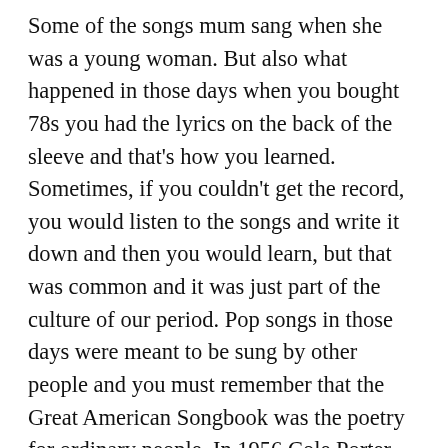Some of the songs mum sang when she was a young woman. But also what happened in those days when you bought 78s you had the lyrics on the back of the sleeve and that's how you learned. Sometimes, if you couldn't get the record, you would listen to the songs and write it down and then you would learn, but that was common and it was just part of the culture of our period. Pop songs in those days were meant to be sung by other people and you must remember that the Great American Songbook was the poetry for ordinary people. In 1956 Cole Porter was still alive. So when someone like Stephen Sondheim dies, the book will close on that Great American Songbook because there's no one to fulfill his place anymore. There's no one of that caliber and stature. These were songs that people loved but they also were the poetry for ordinary people. One of my brothers, who